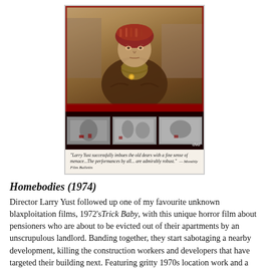[Figure (photo): DVD cover of Homebodies (1974) film. Shows an elderly woman in a colorful knitted hat and scarf on the main cover image. Below are three black and white film stills. A quote reads: 'Larry Yust successfully imbues the old dears with a fine sense of menace...The performances by all...are admirably robust.' — Monthly Film Bulletin. A DVD logo is visible in the lower right corner.]
Homebodies (1974)
Director Larry Yust followed up one of my favourite unknown blaxploitation films, 1972's Trick Baby, with this unique horror film about pensioners who are about to be evicted out of their apartments by an unscrupulous landlord. Banding together, they start sabotaging a nearby development, killing the construction workers and developers that have targeted their building next. Featuring gritty 1970s location work and a cast of aged character actors, it's a visceral horror film with a social conscious that turns